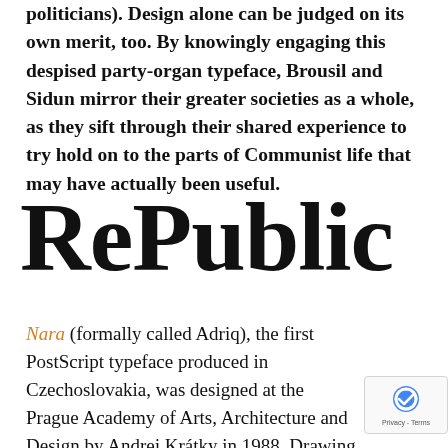politicians). Design alone can be judged on its own merit, too. By knowingly engaging this despised party-organ typeface, Brousil and Sidun mirror their greater societies as a whole, as they sift through their shared experience to try hold on to the parts of Communist life that may have actually been useful.
RePublic
Nara (formally called Adriq), the first PostScript typeface produced in Czechoslovakia, was designed at the Prague Academy of Arts, Architecture and Design by Andrej Krátky in 1988. Drawing severe, narrow calligraphic letterforms that all sport an almost wedge-shaped serif style, Krátky developed this